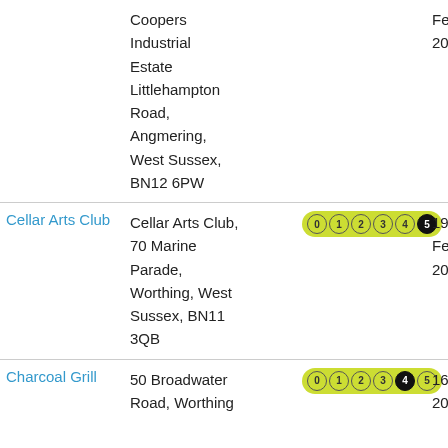| Name | Address | Rating | Date |
| --- | --- | --- | --- |
|  | Coopers Industrial Estate Littlehampton Road, Angmering, West Sussex, BN12 6PW | 5 | February, 2022 |
| Cellar Arts Club | Cellar Arts Club, 70 Marine Parade, Worthing, West Sussex, BN11 3QB | 5 | 19th February, 2020 |
| Charcoal Grill | 50 Broadwater Road, Worthing | 4 | 16th May, 2022 |